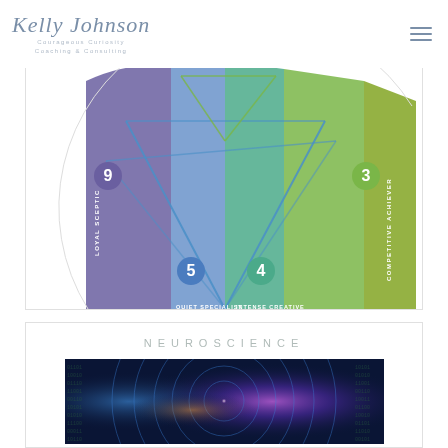Kelly Johnson Courageous Curiosity Coaching & Consulting
[Figure (infographic): Partial enneagram wheel diagram showing segments labeled with personality types: 9 Loyal Sceptic, 3 Competitive Achiever, 5 Quiet Specialist, 4 Intense Creative, with colored arc segments in purple, green, teal, and connecting inner lines forming a geometric star pattern.]
NEUROSCIENCE
[Figure (photo): Neuroscience themed image with blue and purple light trails, circular wave patterns, and glowing brain/neural network imagery against a dark background.]